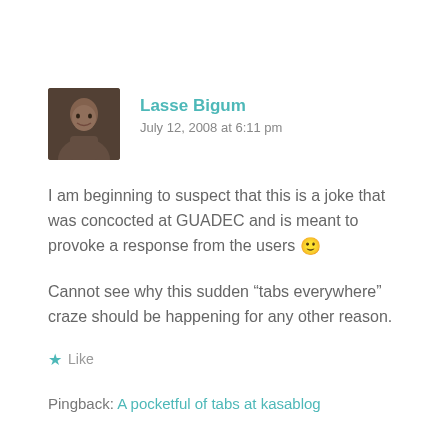[Figure (photo): Avatar photo of Lasse Bigum, a person's face, dark tones]
Lasse Bigum
July 12, 2008 at 6:11 pm
I am beginning to suspect that this is a joke that was concocted at GUADEC and is meant to provoke a response from the users 🙂
Cannot see why this sudden “tabs everywhere” craze should be happening for any other reason.
★ Like
Pingback: A pocketful of tabs at kasablog